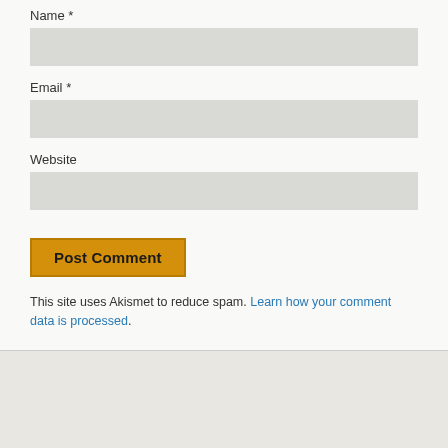Name *
Email *
Website
Post Comment
This site uses Akismet to reduce spam. Learn how your comment data is processed.
⌃ Back to top
Mobile | Desktop